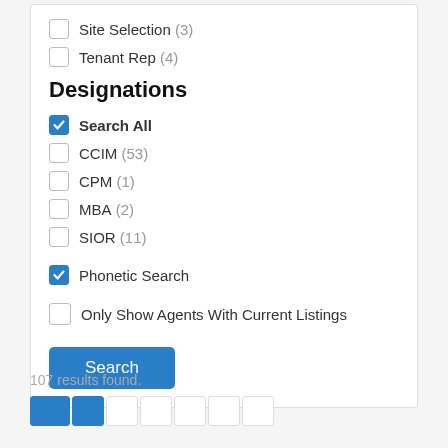Site Selection (3)
Tenant Rep (4)
Designations
Search All (checked)
CCIM (53)
CPM (1)
MBA (2)
SIOR (11)
Phonetic Search (checked)
Only Show Agents With Current Listings
107 results found.